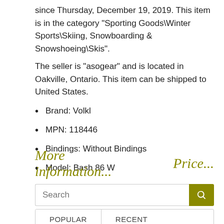since Thursday, December 19, 2019. This item is in the category "Sporting Goods\Winter Sports\Skiing, Snowboarding & Snowshoeing\Skis".
The seller is "asogear" and is located in Oakville, Ontario. This item can be shipped to United States.
Brand: Volkl
MPN: 118446
Bindings: Without Bindings
Model: Bash 86 W
More information...    Price...
Search
POPULAR   RECENT